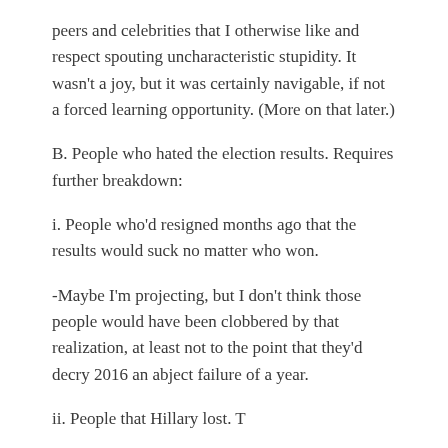peers and celebrities that I otherwise like and respect spouting uncharacteristic stupidity. It wasn't a joy, but it was certainly navigable, if not a forced learning opportunity. (More on that later.)
B. People who hated the election results. Requires further breakdown:
i. People who'd resigned months ago that the results would suck no matter who won.
-Maybe I'm projecting, but I don't think those people would have been clobbered by that realization, at least not to the point that they'd decry 2016 an abject failure of a year.
ii. People that Hillary lost. T...